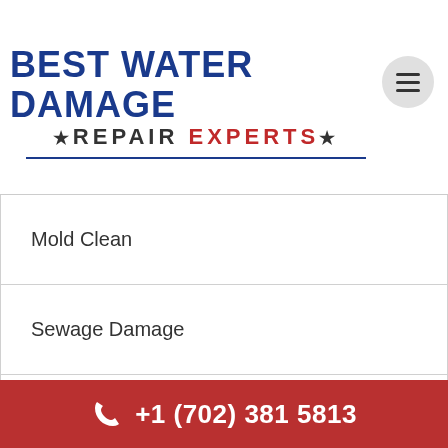BEST WATER DAMAGE ★REPAIR EXPERTS★
Mold Clean
Sewage Damage
Smoke Damage
Storm Damage
Uncategorized
+1 (702) 381 5813